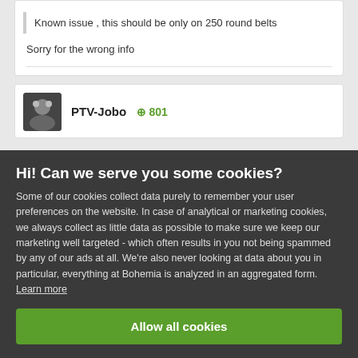Known issue , this should be only on 250 round belts
Sorry for the wrong info
PTV-Jobo  801
Hi! Can we serve you some cookies?
Some of our cookies collect data purely to remember your user preferences on the website. In case of analytical or marketing cookies, we always collect as little data as possible to make sure we keep our marketing well targeted - which often results in you not being spammed by any of our ads at all. We're also never looking at data about you in particular, everything at Bohemia is analyzed in an aggregated form. Learn more
Allow all cookies
I want more options